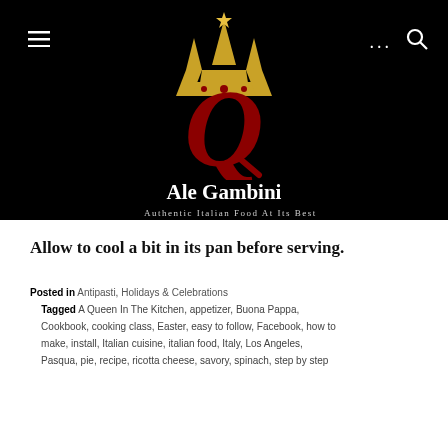[Figure (logo): Ale Gambini website header with black background, crown logo in gold, decorative red Q letter, site name 'Ale Gambini' and tagline 'Authentic Italian Food At Its Best'. Navigation icons for menu, dots, and search are visible.]
Allow to cool a bit in its pan before serving.
Posted in Antipasti, Holidays & Celebrations
Tagged A Queen In The Kitchen, appetizer, Buona Pappa, Cookbook, cooking class, Easter, easy to follow, Facebook, how to make, install, Italian cuisine, italian food, Italy, Los Angeles, Pasqua, pie, recipe, ricotta cheese, savory, spinach, step by step